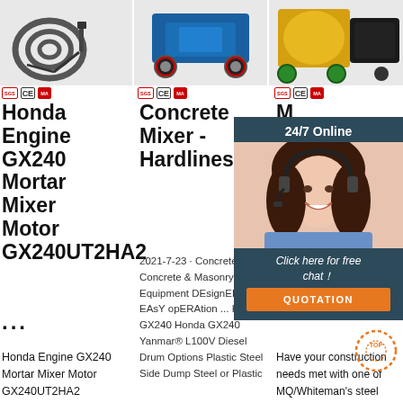[Figure (photo): Product image of Honda Engine GX240 Mortar Mixer Motor with cable coil]
[Figure (photo): Product image of Concrete Mixer blue machine on wheels]
[Figure (photo): Product image of MQ/Whiteman steel drum concrete mixer yellow machine]
Certification badges: [logo] CE MA
Certification badges: [logo] CE MA
Certification badges: [logo] CE MA
Honda Engine GX240 Mortar Mixer Motor GX240UT2HA2
Concrete Mixer - Hardlineservice
M... Mo...
...
2021-7-23 · Concrete Mixer Concrete & Masonry Equipment DEsignED for EAsY opERAtion ... Honda® GX240 Honda GX240 Yanmar® L100V Diesel Drum Options Plastic Steel Side Dump Steel or Plastic
Have your construction needs met with one of MQ/Whiteman's steel drum concrete mixer offered in three capacities. A lower and
Honda Engine GX240 Mortar Mixer Motor GX240UT2HA2
[Figure (photo): 24/7 Online customer service chat agent - woman with headset smiling, with 'Click here for free chat!' text and QUOTATION button]